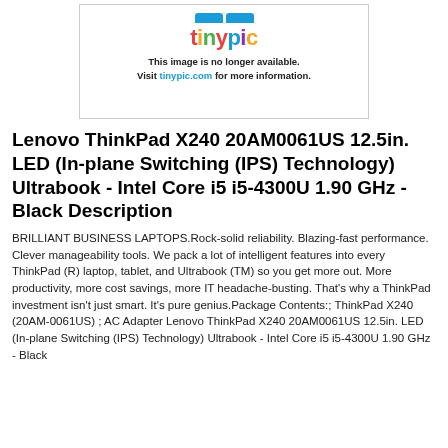[Figure (other): Tinypic placeholder image showing the Tinypic logo with text: 'This image is no longer available. Visit tinypic.com for more information.']
Lenovo ThinkPad X240 20AM0061US 12.5in. LED (In-plane Switching (IPS) Technology) Ultrabook - Intel Core i5 i5-4300U 1.90 GHz - Black Description
BRILLIANT BUSINESS LAPTOPS.Rock-solid reliability. Blazing-fast performance. Clever manageability tools. We pack a lot of intelligent features into every ThinkPad (R) laptop, tablet, and Ultrabook (TM) so you get more out. More productivity, more cost savings, more IT headache-busting. That's why a ThinkPad investment isn't just smart. It's pure genius.Package Contents:; ThinkPad X240 (20AM-0061US) ; AC Adapter Lenovo ThinkPad X240 20AM0061US 12.5in. LED (In-plane Switching (IPS) Technology) Ultrabook - Intel Core i5 i5-4300U 1.90 GHz - Black